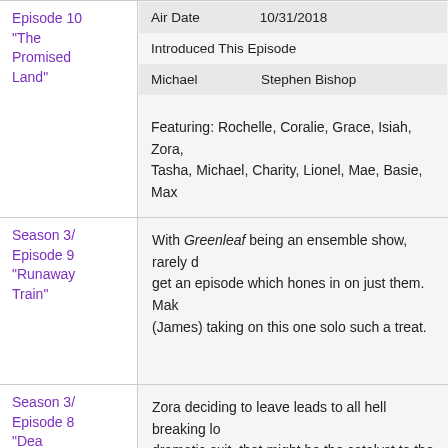| Season 3/ Episode 10 "The Promised Land" | Air Date: 10/31/2018 | Introduced This Episode | Michael: Stephen Bishop | Featuring: Rochelle, Coralie, Grace, Isiah, Zora, Tasha, Michael, Charity, Lionel, Mae, Basie, Max |
| Season 3/ Episode 9 "Runaway Train" | With Greenleaf being an ensemble show, rarely d... get an episode which hones in on just them. Mak (James) taking on this one solo such a treat. |
| Season 3/ Episode 8 "Dea Abscondita" | Zora deciding to leave leads to all hell breaking l... dramatic exit, that might be the catalyst to the he... |